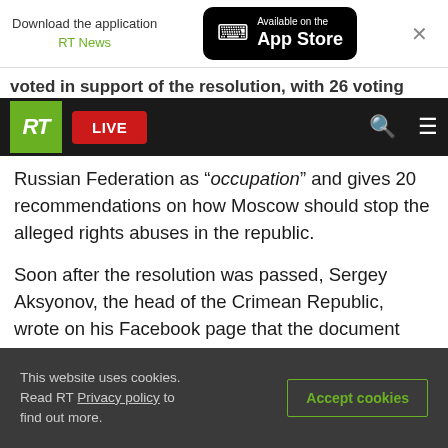Download the application RT News | Available on the App Store
RT LIVE
voted in support of the resolution, with 26 voting
Russian Federation as “occupation” and gives 20 recommendations on how Moscow should stop the alleged rights abuses in the republic.
Soon after the resolution was passed, Sergey Aksyonov, the head of the Crimean Republic, wrote on his Facebook page that the document was just another collection of “propaganda myths from Kiev,” adding that the 2014 reunification with Russia was a free choice of the republic’s citizens.
This website uses cookies. Read RT Privacy policy to find out more. | Accept cookies